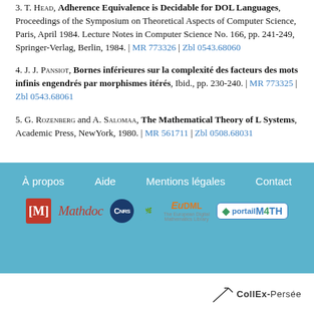3. T. Head, Adherence Equivalence is Decidable for DOL Languages, Proceedings of the Symposium on Theoretical Aspects of Computer Science, Paris, April 1984. Lecture Notes in Computer Science No. 166, pp. 241-249, Springer-Verlag, Berlin, 1984. | MR 773326 | Zbl 0543.68060
4. J. J. Pansiot, Bornes inférieures sur la complexité des facteurs des mots infinis engendrés par morphismes itérés, Ibid., pp. 230-240. | MR 773325 | Zbl 0543.68061
5. G. Rozenberg and A. Salomaa, The Mathematical Theory of L Systems, Academic Press, NewYork, 1980. | MR 561711 | Zbl 0508.68031
À propos  Aide  Mentions légales  Contact
[Figure (logo): Footer logos: MathRev [M], Mathdoc, CNRS, EuDML, Portail M4TH, CollEx-Persée]